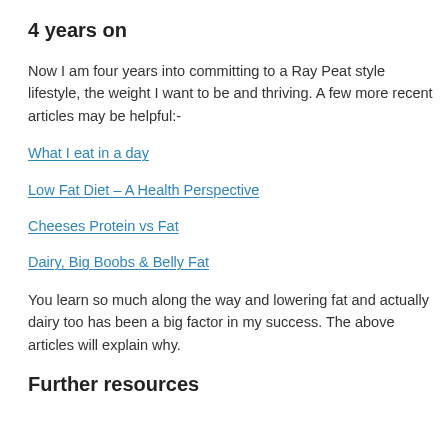4 years on
Now I am four years into committing to a Ray Peat style lifestyle, the weight I want to be and thriving. A few more recent articles may be helpful:-
What I eat in a day
Low Fat Diet – A Health Perspective
Cheeses Protein vs Fat
Dairy, Big Boobs & Belly Fat
You learn so much along the way and lowering fat and actually dairy too has been a big factor in my success. The above articles will explain why.
Further resources